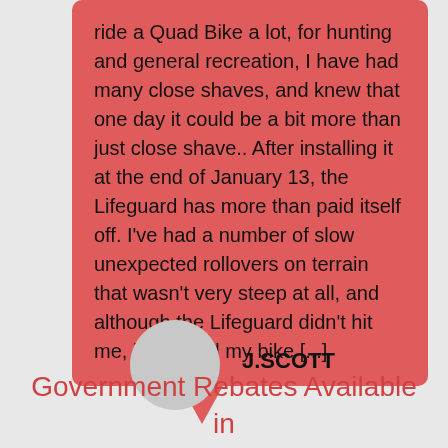ride a Quad Bike a lot, for hunting and general recreation, I have had many close shaves, and knew that one day it could be a bit more than just close shave.. After installing it at the end of January 13, the Lifeguard has more than paid itself off. I've had a number of slow unexpected rollovers on terrain that wasn't very steep at all, and although the Lifeguard didn't hit me, it stopped my bike [...]
J.SCOTT
Government Rebates Available in